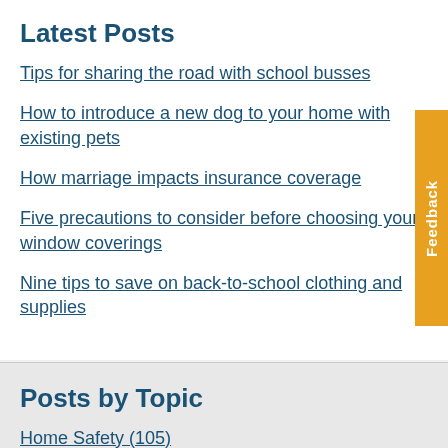Latest Posts
Tips for sharing the road with school busses
How to introduce a new dog to your home with existing pets
How marriage impacts insurance coverage
Five precautions to consider before choosing your window coverings
Nine tips to save on back-to-school clothing and supplies
Posts by Topic
Home Safety (105)
Weather (70)
Auto Safety (66)